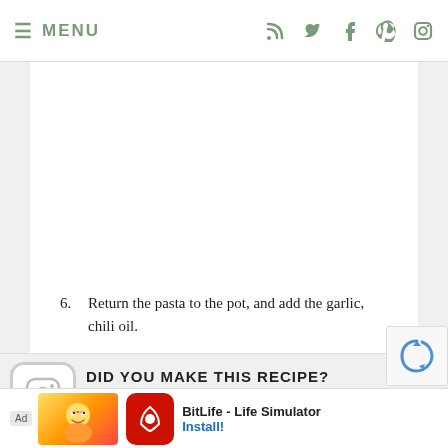☰ MENU
6. Return the pasta to the pot, and add the garlic, chili oil.
7. Mix well over medium heat until hot, adding a little pasta water if the mixture seems dry.
8. Add the parsley, mix well and serve.
DID YOU MAKE THIS RECIPE?
[Figure (screenshot): Ad banner for BitLife - Life Simulator app with Install button]